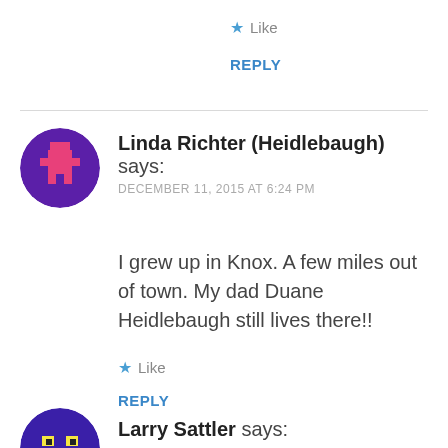★ Like
REPLY
Linda Richter (Heidlebaugh) says: DECEMBER 11, 2015 AT 6:24 PM
I grew up in Knox. A few miles out of town. My dad Duane Heidlebaugh still lives there!!
★ Like
REPLY
Larry Sattler says: